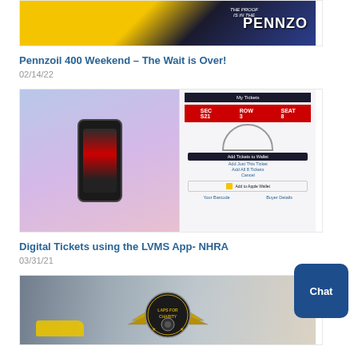[Figure (photo): Pennzoil 400 Weekend promotional image with yellow and blue racing theme and Pennzoil logo]
Pennzoil 400 Weekend – The Wait is Over!
02/14/22
[Figure (photo): Woman holding a phone using the LVMS App with ticket interface shown on screen]
Digital Tickets using the LVMS App- NHRA
03/31/21
[Figure (photo): Laps for Charity logo with checkered flags and racing wheel emblem over a racetrack background]
[Figure (other): Chat button - blue rounded rectangle with white text 'Chat']